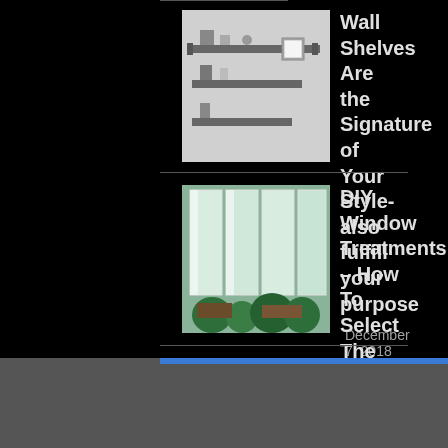[Figure (photo): Thumbnail image of wall shelves with decorative items]
Wall Shelves Are the Signature of Your Style-also fulfill your purpose
December 7, 2018
[Figure (photo): Thumbnail image of a sunroom with large windows and tropical plants]
DIY Window Treatments – How To Select The Right Window Treatments
April 5, 2021